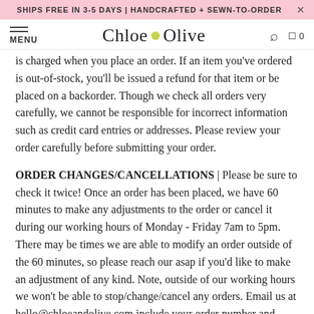SHIPS FREE IN 3-5 DAYS | HANDCRAFTED + SEWN-TO-ORDER
Chloe n Olive — MENU — Search — Cart 0
is charged when you place an order. If an item you've ordered is out-of-stock, you'll be issued a refund for that item or be placed on a backorder. Though we check all orders very carefully, we cannot be responsible for incorrect information such as credit card entries or addresses. Please review your order carefully before submitting your order.
ORDER CHANGES/CANCELLATIONS | Please be sure to check it twice! Once an order has been placed, we have 60 minutes to make any adjustments to the order or cancel it during our working hours of Monday - Friday 7am to 5pm. There may be times we are able to modify an order outside of the 60 minutes, so please reach our asap if you'd like to make an adjustment of any kind. Note, outside of our working hours we won't be able to stop/change/cancel any orders. Email us at hello@chloeandolive.com include your order number and